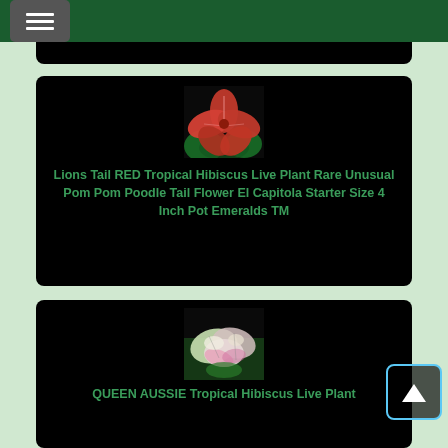Flower Starter Size 4 Inch Pot Emerald TM
[Figure (photo): Red tropical hibiscus flowers close-up photo]
Lions Tail RED Tropical Hibiscus Live Plant Rare Unusual Pom Pom Poodle Tail Flower El Capitola Starter Size 4 Inch Pot Emeralds TM
[Figure (photo): Variegated tropical hibiscus plant with pink and white leaves]
QUEEN AUSSIE Tropical Hibiscus Live Plant